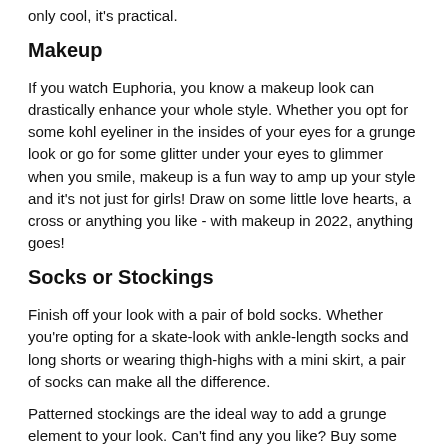only cool, it's practical.
Makeup
If you watch Euphoria, you know a makeup look can drastically enhance your whole style. Whether you opt for some kohl eyeliner in the insides of your eyes for a grunge look or go for some glitter under your eyes to glimmer when you smile, makeup is a fun way to amp up your style and it's not just for girls! Draw on some little love hearts, a cross or anything you like - with makeup in 2022, anything goes!
Socks or Stockings
Finish off your look with a pair of bold socks. Whether you're opting for a skate-look with ankle-length socks and long shorts or wearing thigh-highs with a mini skirt, a pair of socks can make all the difference.
Patterned stockings are the ideal way to add a grunge element to your look. Can't find any you like? Buy some plain ones and rip them up! This is a real statement look and pairs perfect with an oversized vintage tee.
Official Vintage
At Official Vintage, we love vintage clothes! Vintage offers versatility in